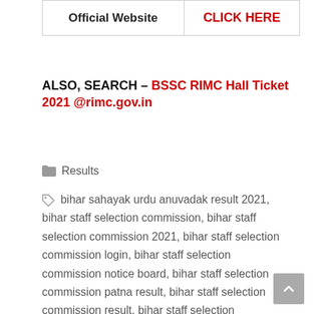| Official Website | CLICK HERE |
| --- | --- |
ALSO, SEARCH – BSSC RIMC Hall Ticket 2021 @rimc.gov.in
Results
bihar sahayak urdu anuvadak result 2021, bihar staff selection commission, bihar staff selection commission 2021, bihar staff selection commission login, bihar staff selection commission notice board, bihar staff selection commission patna result, bihar staff selection commission result, bihar staff selection commission result 2014, bihar staff selection commission syllabus, bihar staff selection